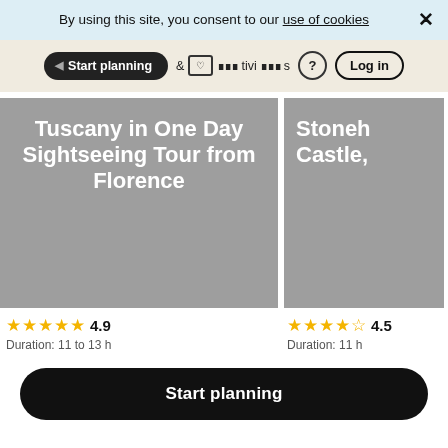By using this site, you consent to our use of cookies
[Figure (screenshot): Website navigation bar with Start planning pill button, favorites and activities icons, help icon, and Log in button on a beige/tan background]
[Figure (screenshot): Tour card showing 'Tuscany in One Day Sightseeing Tour from Florence' on gray background]
[Figure (screenshot): Partially visible tour card showing 'Stoneh Castle,' on gray background (clipped on right)]
4.9
4.5
Duration: 11 to 13 h
Duration: 11 h
Start planning